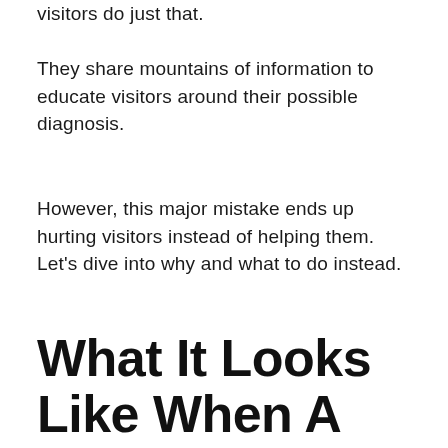visitors do just that.
They share mountains of information to educate visitors around their possible diagnosis.
However, this major mistake ends up hurting visitors instead of helping them. Let's dive into why and what to do instead.
What It Looks Like When A Therapist Is Inadvertently